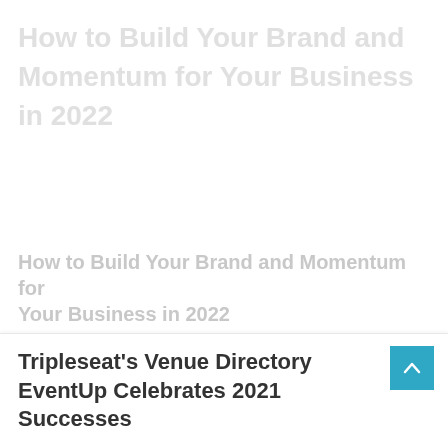How to Build Your Brand and Momentum for Your Business in 2022
Tripleseat's Venue Directory EventUp Celebrates 2021 Successes